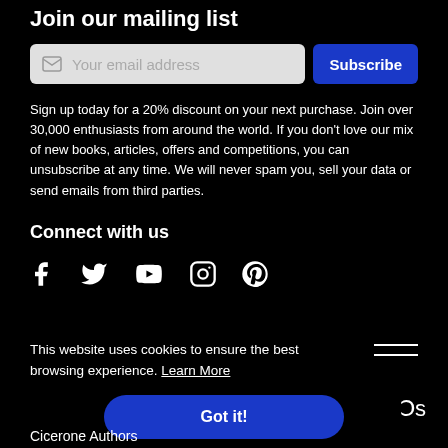Join our mailing list
Your email address
Subscribe
Sign up today for a 20% discount on your next purchase. Join over 30,000 enthusiasts from around the world. If you don't love our mix of new books, articles, offers and competitions, you can unsubscribe at any time. We will never spam you, sell your data or send emails from third parties.
Connect with us
[Figure (infographic): Social media icons: Facebook, Twitter, YouTube, Instagram, Pinterest]
This website uses cookies to ensure the best browsing experience. Learn More
Got it!
Ɔs
Cicerone Authors